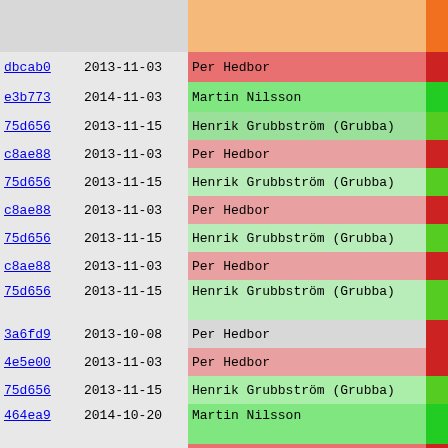| hash | date | author | bar | description |
| --- | --- | --- | --- | --- |
|  |  |  |  | This new t |
| dbcab0 | 2013-11-03 | Per Hedbor |  | o New stand- |
| e3b773 | 2014-11-03 | Martin Nilsson |  | documentat |
| 75d656 | 2013-11-15 | Henrik Grubbström (Grubba) |  |  |
| c8ae88 | 2013-11-03 | Per Hedbor |  | + autodoc_ |
| 75d656 | 2013-11-15 | Henrik Grubbström (Grubba) |  | AutoDoc |
| c8ae88 | 2013-11-03 | Per Hedbor |  | + autodoc_ |
| 75d656 | 2013-11-15 | Henrik Grubbström (Grubba) |  | AutoDoc |
| c8ae88 | 2013-11-03 | Per Hedbor |  | + git_expo |
| 75d656 | 2013-11-15 | Henrik Grubbström (Grubba) |  | Exports
Used on |
| 3a6fd9 | 2013-10-08 | Per Hedbor |  |  |
| 4e5e00 | 2013-11-03 | Per Hedbor |  | o Readline t |
| 75d656 | 2013-11-15 | Henrik Grubbström (Grubba) |  |  |
| 464ea9 | 2014-10-20 | Martin Nilsson |  | This makes
the termir |
| 4e5e00 | 2013-11-03 | Per Hedbor |  |  |